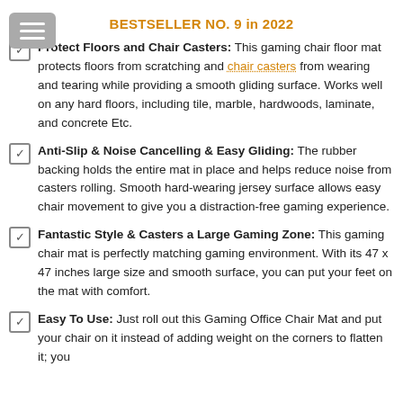BESTSELLER NO. 9 in 2022
Protect Floors and Chair Casters: This gaming chair floor mat protects floors from scratching and chair casters from wearing and tearing while providing a smooth gliding surface. Works well on any hard floors, including tile, marble, hardwoods, laminate, and concrete Etc.
Anti-Slip & Noise Cancelling & Easy Gliding: The rubber backing holds the entire mat in place and helps reduce noise from casters rolling. Smooth hard-wearing jersey surface allows easy chair movement to give you a distraction-free gaming experience.
Fantastic Style & Casters a Large Gaming Zone: This gaming chair mat is perfectly matching gaming environment. With its 47 x 47 inches large size and smooth surface, you can put your feet on the mat with comfort.
Easy To Use: Just roll out this Gaming Office Chair Mat and put your chair on it instead of adding weight on the corners to flatten it; you